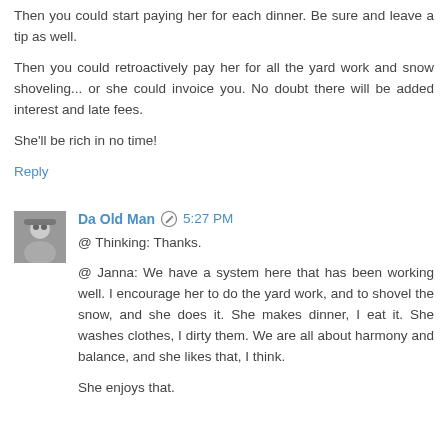Then you could start paying her for each dinner. Be sure and leave a tip as well.
Then you could retroactively pay her for all the yard work and snow shoveling... or she could invoice you. No doubt there will be added interest and late fees.
She'll be rich in no time!
Reply
Da Old Man  5:27 PM
@ Thinking: Thanks.
@ Janna: We have a system here that has been working well. I encourage her to do the yard work, and to shovel the snow, and she does it. She makes dinner, I eat it. She washes clothes, I dirty them. We are all about harmony and balance, and she likes that, I think.
She enjoys that.